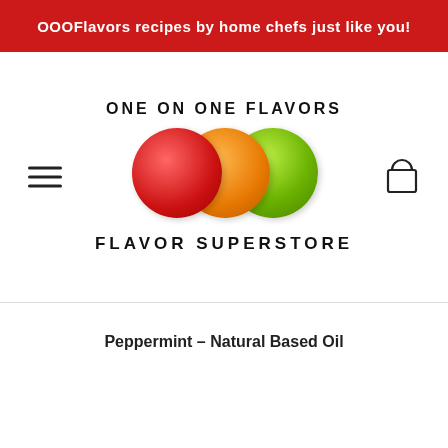OOOFlavors recipes by home chefs just like you!
[Figure (logo): One On One Flavors - Flavor Superstore logo with three overlapping circles in red, orange, and green]
Peppermint – Natural Based Oil